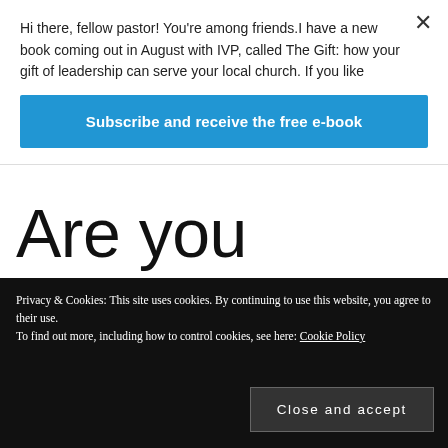Hi there, fellow pastor! You’re among friends.I have a new book coming out in August with IVP, called The Gift: how your gift of leadership can serve your local church. If you like
Subscribe and receive the free e-book
Are you confusing ends and means?
Privacy & Cookies: This site uses cookies. By continuing to use this website, you agree to their use.
To find out more, including how to control cookies, see here: Cookie Policy
Close and accept